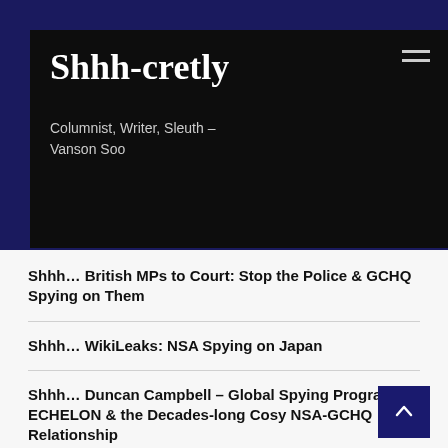Shhh-cretly
Columnist, Writer, Sleuth – Vanson Soo
Shhh… British MPs to Court: Stop the Police & GCHQ Spying on Them
Shhh… WikiLeaks: NSA Spying on Japan
Shhh… Duncan Campbell – Global Spying Program ECHELON & the Decades-long Cosy NSA-GCHQ Relationship
Shhh… The Chinese Version of All the President's Men
Shhh… The Cost of Watching Julian Assange
Shhh… Google: No to Global ‘Right to Be Forgotten’ Order
Shhh… The Intercept: A Summer Reading List